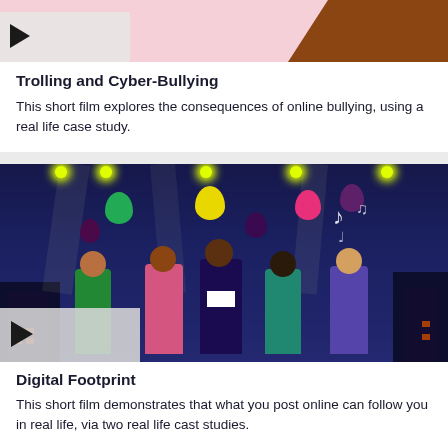[Figure (illustration): Top portion of a video thumbnail showing a pink background with a brown illustrated figure and a play button overlay at bottom left.]
Trolling and Cyber-Bullying
This short film explores the consequences of online bullying, using a real life case study.
[Figure (illustration): Video thumbnail showing a colorful illustrated night scene with young people at an outdoor party, balloons, music notes, spotlights and buildings in the background. Play button overlay at bottom left.]
Digital Footprint
This short film demonstrates that what you post online can follow you in real life, via two real life cast studies.